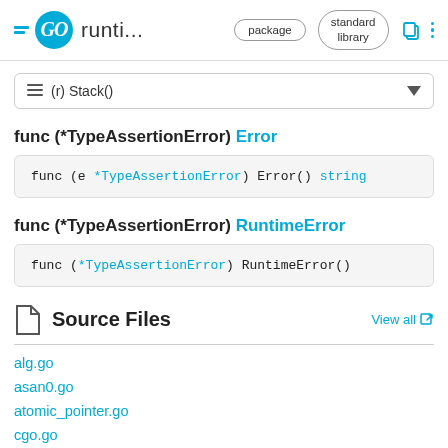GO runti... package standard library
(r) Stack()
func (*TypeAssertionError) Error
func (*TypeAssertionError) RuntimeError
Source Files
alg.go
asan0.go
atomic_pointer.go
cgo.go